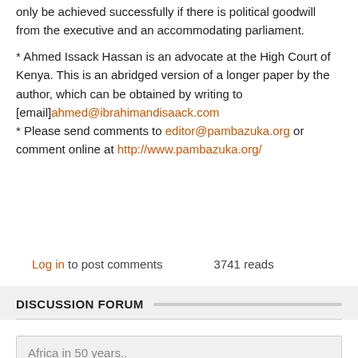only be achieved successfully if there is political goodwill from the executive and an accommodating parliament.
* Ahmed Issack Hassan is an advocate at the High Court of Kenya. This is an abridged version of a longer paper by the author, which can be obtained by writing to [email]ahmed@ibrahimandisaack.com
* Please send comments to editor@pambazuka.org or comment online at http://www.pambazuka.org/
Log in to post comments        3741 reads
DISCUSSION FORUM
Africa in 50 years..